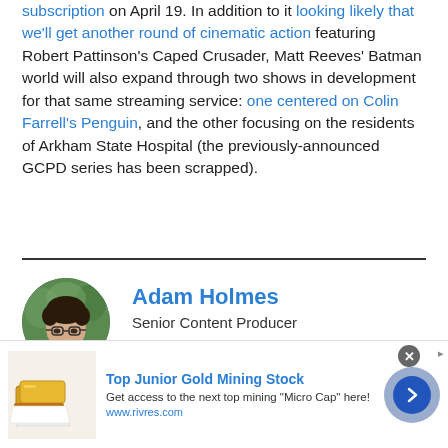subscription on April 19. In addition to it looking likely that we'll get another round of cinematic action featuring Robert Pattinson's Caped Crusader, Matt Reeves' Batman world will also expand through two shows in development for that same streaming service: one centered on Colin Farrell's Penguin, and the other focusing on the residents of Arkham State Hospital (the previously-announced GCPD series has been scrapped).
Adam Holmes
Senior Content Producer
[Figure (photo): Circular avatar photo of Adam Holmes, a man with glasses wearing a dark blue shirt, smiling, with green outdoor background]
[Figure (logo): Twitter bird icon in blue circle]
[Figure (infographic): Advertisement banner: Top Junior Gold Mining Stock. Get access to the next top mining 'Micro Cap' here! www.rivres.com. Image of gold bars on left, blue arrow button on right.]